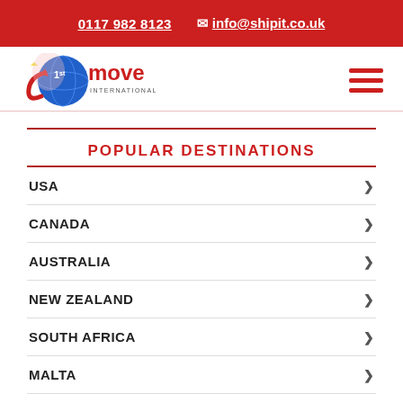0117 982 8123   info@shipit.co.uk
[Figure (logo): 1st Move International logo with globe and arrow graphic]
POPULAR DESTINATIONS
USA
CANADA
AUSTRALIA
NEW ZEALAND
SOUTH AFRICA
MALTA
CYPRUS
DUBAI